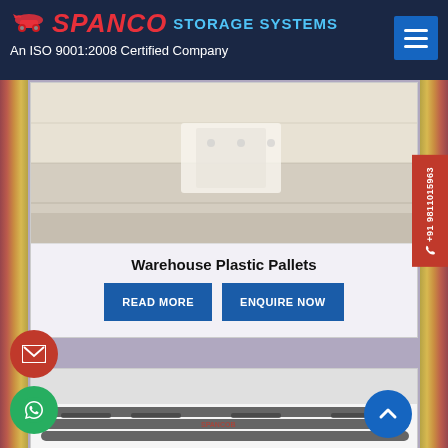SPANCO STORAGE SYSTEMS - An ISO 9001:2008 Certified Company
[Figure (photo): Top portion of a white plastic pallet, close-up view showing surface texture and corner detail]
Warehouse Plastic Pallets
READ MORE | ENQUIRE NOW
[Figure (photo): Wooden or plastic pallets with cylindrical tube/rod structure, dark grey color, stacked horizontally]